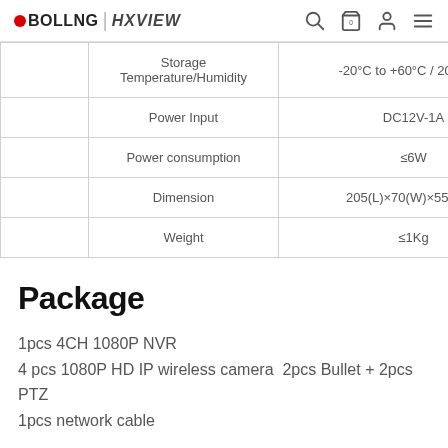OBOLLNG | HXVIEW
|  | Parameter | Value |
| --- | --- | --- |
|  | Storage Temperature/Humidity | -20°C to +60°C / 20% to 9 |
|  | Power Input | DC12V-1A |
|  | Power consumption | ≤6W |
|  | Dimension | 205(L)×70(W)×55 (H)m |
|  | Weight | ≤1Kg |
Package
1pcs 4CH 1080P NVR
4 pcs 1080P HD IP wireless camera  2pcs Bullet + 2pcs PTZ
1pcs network cable